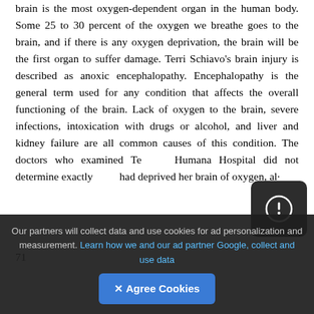brain is the most oxygen-dependent organ in the human body. Some 25 to 30 percent of the oxygen we breathe goes to the brain, and if there is any oxygen deprivation, the brain will be the first organ to suffer damage. Terri Schiavo's brain injury is described as anoxic encephalopathy. Encephalopathy is the general term used for any condition that affects the overall functioning of the brain. Lack of oxygen to the brain, severe infections, intoxication with drugs or alcohol, and liver and kidney failure are all common causes of this condition. The doctors who examined Te… Humana Hospital did not determine exactly… had deprived her brain of oxygen, al·
71